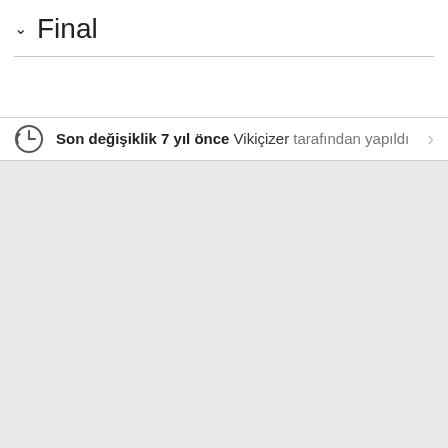Final
Son değişiklik 7 yıl önce Vikiçizer tarafından yapıldı